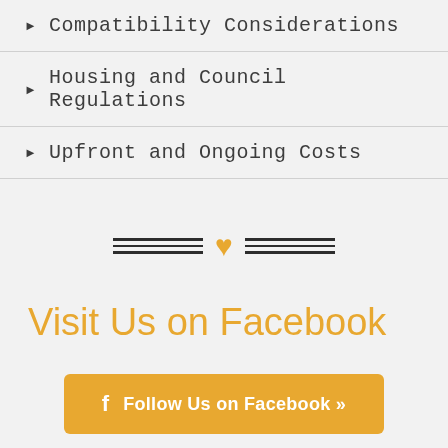Compatibility Considerations
Housing and Council Regulations
Upfront and Ongoing Costs
[Figure (illustration): Decorative divider with triple horizontal lines on each side and an orange heart in the center]
Visit Us on Facebook
[Figure (infographic): Orange Facebook follow button with Facebook 'f' icon and text 'Follow Us on Facebook »']